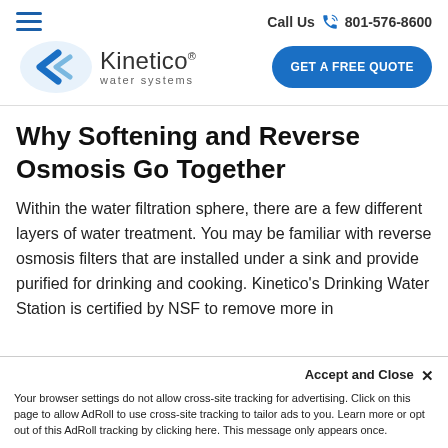Call Us 801-576-8600
[Figure (logo): Kinetico water systems logo with blue chevron/arrow icon]
GET A FREE QUOTE
Why Softening and Reverse Osmosis Go Together
Within the water filtration sphere, there are a few different layers of water treatment. You may be familiar with reverse osmosis filters that are installed under a sink and provide purified for drinking and cooking. Kinetico's Drinking Water Station is certified by NSF to remove more in...
Accept and Close ✕
Your browser settings do not allow cross-site tracking for advertising. Click on this page to allow AdRoll to use cross-site tracking to tailor ads to you. Learn more or opt out of this AdRoll tracking by clicking here. This message only appears once.